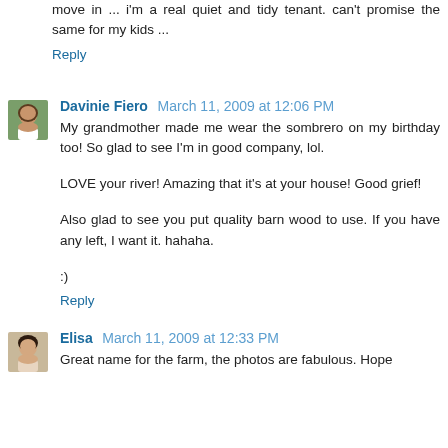move in ... i'm a real quiet and tidy tenant. can't promise the same for my kids ...
Reply
Davinie Fiero  March 11, 2009 at 12:06 PM
My grandmother made me wear the sombrero on my birthday too! So glad to see I'm in good company, lol.
LOVE your river! Amazing that it's at your house! Good grief!
Also glad to see you put quality barn wood to use. If you have any left, I want it. hahaha.
:)
Reply
Elisa  March 11, 2009 at 12:33 PM
Great name for the farm, the photos are fabulous. Hope